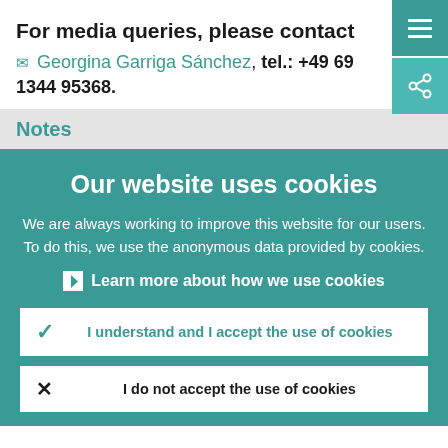For media queries, please contact
✉ Georgina Garriga Sánchez, tel.: +49 69 1344 95368.
Notes
Our website uses cookies
We are always working to improve this website for our users. To do this, we use the anonymous data provided by cookies.
Learn more about how we use cookies
I understand and I accept the use of cookies
I do not accept the use of cookies